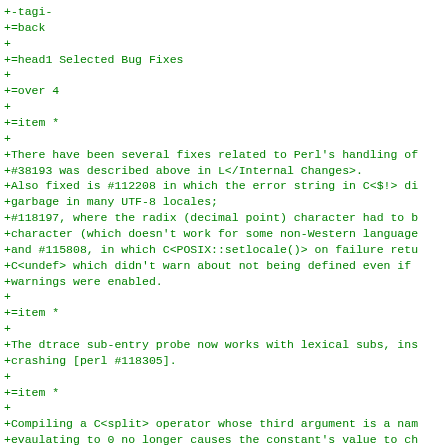+
+=back
+
+=head1 Selected Bug Fixes
+
+=over 4
+
+=item *
+
+There have been several fixes related to Perl's handling of
+#38193 was described above in L</Internal Changes>.
+Also fixed is #112208 in which the error string in C<$!> di
+garbage in many UTF-8 locales;
+#118197, where the radix (decimal point) character had to b
+character (which doesn't work for some non-Western language
+and #115808, in which C<POSIX::setlocale()> on failure retu
+C<undef> which didn't warn about not being defined even if
+warnings were enabled.
+
+=item *
+
+The dtrace sub-entry probe now works with lexical subs, ins
+crashing [perl #118305].
+
+=item *
+
+Compiling a C<split> operator whose third argument is a nam
+evaulating to 0 no longer causes the constant's value to ch
+
+=item *
+
+A named constant used as the second argument to C<index>